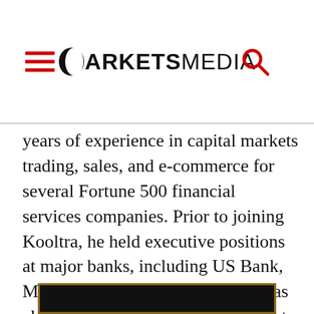ARKETSMEDIA
years of experience in capital markets trading, sales, and e-commerce for several Fortune 500 financial services companies. Prior to joining Kooltra, he held executive positions at major banks, including US Bank, Morgan Stanley and Citi. Green was also Head of Business Development and a member of the executive management team at Integral, a Silicon Valley-based technology business.
[Figure (photo): Dark background image with gold border at the bottom of the page]